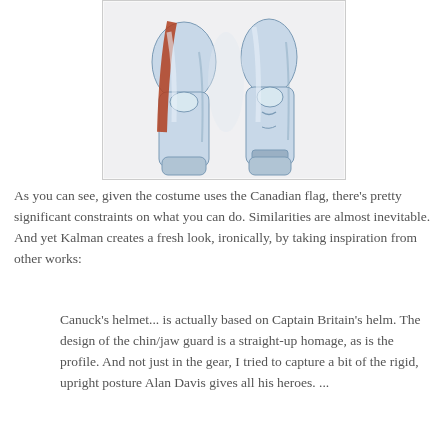[Figure (illustration): Comic book illustration showing the lower body and legs of a superhero character in a white/silver costume with red accents, viewed from the front in a wide stance posture.]
As you can see, given the costume uses the Canadian flag, there's pretty significant constraints on what you can do. Similarities are almost inevitable. And yet Kalman creates a fresh look, ironically, by taking inspiration from other works:
Canuck's helmet... is actually based on Captain Britain's helm. The design of the chin/jaw guard is a straight-up homage, as is the profile. And not just in the gear, I tried to capture a bit of the rigid, upright posture Alan Davis gives all his heroes. ...